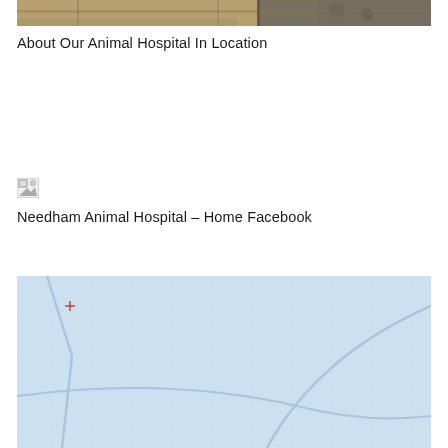[Figure (photo): Partial view of outdoor photo showing people and landscape at top of page]
About Our Animal Hospital In Location
[Figure (photo): Broken/missing image placeholder icon]
Needham Animal Hospital – Home Facebook
[Figure (map): Map showing light blue area with road lines, appears to be a geographic map view]